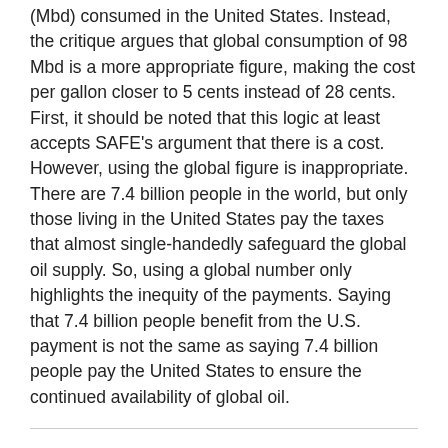(Mbd) consumed in the United States. Instead, the critique argues that global consumption of 98 Mbd is a more appropriate figure, making the cost per gallon closer to 5 cents instead of 28 cents. First, it should be noted that this logic at least accepts SAFE's argument that there is a cost. However, using the global figure is inappropriate. There are 7.4 billion people in the world, but only those living in the United States pay the taxes that almost single-handedly safeguard the global oil supply. So, using a global number only highlights the inequity of the payments. Saying that 7.4 billion people benefit from the U.S. payment is not the same as saying 7.4 billion people pay the United States to ensure the continued availability of global oil.
There is no indication in this 2018 NPRM or PRIA that the agencies will change the